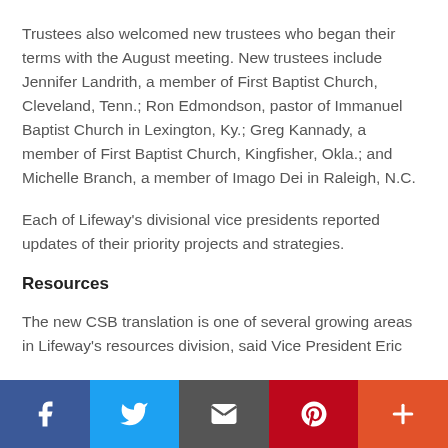Trustees also welcomed new trustees who began their terms with the August meeting. New trustees include Jennifer Landrith, a member of First Baptist Church, Cleveland, Tenn.; Ron Edmondson, pastor of Immanuel Baptist Church in Lexington, Ky.; Greg Kannady, a member of First Baptist Church, Kingfisher, Okla.; and Michelle Branch, a member of Imago Dei in Raleigh, N.C.
Each of Lifeway's divisional vice presidents reported updates of their priority projects and strategies.
Resources
The new CSB translation is one of several growing areas in Lifeway's resources division, said Vice President Eric